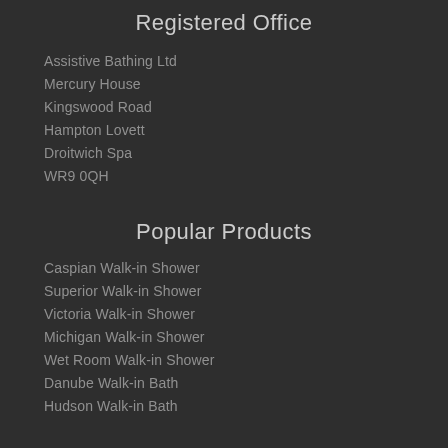Registered Office
Assistive Bathing Ltd
Mercury House
Kingswood Road
Hampton Lovett
Droitwich Spa
WR9 0QH
Popular Products
Caspian Walk-in Shower
Superior Walk-in Shower
Victoria Walk-in Shower
Michigan Walk-in Shower
Wet Room Walk-in Shower
Danube Walk-in Bath
Hudson Walk-in Bath